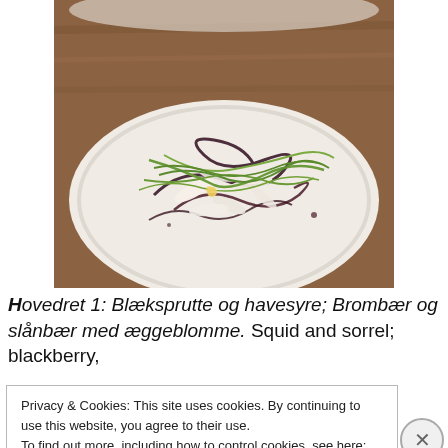[Figure (photo): A plated dish on a white oval plate: squid pieces with green sorrel strands and a dark blackberry/sloe sauce drizzled in swirls, with a small yellow flower garnish, on a wooden table.]
Hovedret 1: Blæksprutte og havesyre; Brombær og slånbær med æggeblomme. Squid and sorrel; blackberry,
Privacy & Cookies: This site uses cookies. By continuing to use this website, you agree to their use.
To find out more, including how to control cookies, see here: Cookie Policy